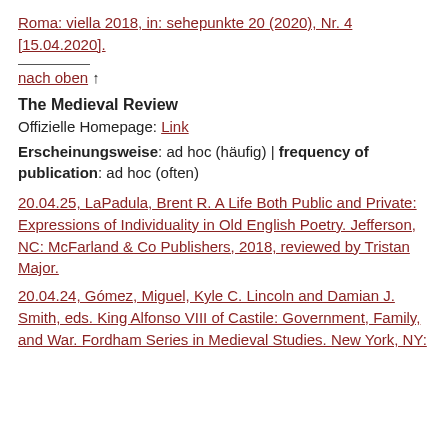Roma: viella 2018, in: sehepunkte 20 (2020), Nr. 4 [15.04.2020].
nach oben ↑
The Medieval Review
Offizielle Homepage: Link
Erscheinungsweise: ad hoc (häufig) | frequency of publication: ad hoc (often)
20.04.25, LaPadula, Brent R. A Life Both Public and Private: Expressions of Individuality in Old English Poetry. Jefferson, NC: McFarland & Co Publishers, 2018, reviewed by Tristan Major.
20.04.24, Gómez, Miguel, Kyle C. Lincoln and Damian J. Smith, eds. King Alfonso VIII of Castile: Government, Family, and War. Fordham Series in Medieval Studies. New York, NY: